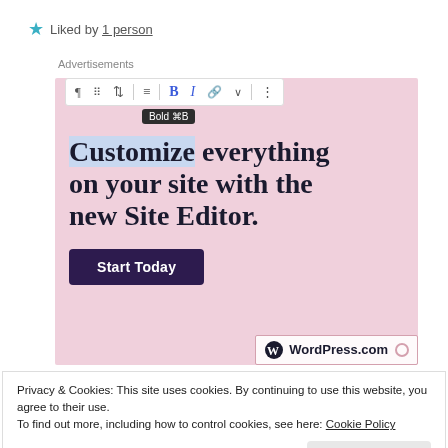★ Liked by 1 person
Advertisements
[Figure (screenshot): WordPress.com advertisement screenshot showing a block editor toolbar with Bold (⌘B) tooltip, headline 'Customize everything on your site with the new Site Editor.', a 'Start Today' button, and the WordPress.com logo in a pink-bordered box.]
Privacy & Cookies: This site uses cookies. By continuing to use this website, you agree to their use.
To find out more, including how to control cookies, see here: Cookie Policy
Close and accept
May 26, 2020 at 8:20 pm